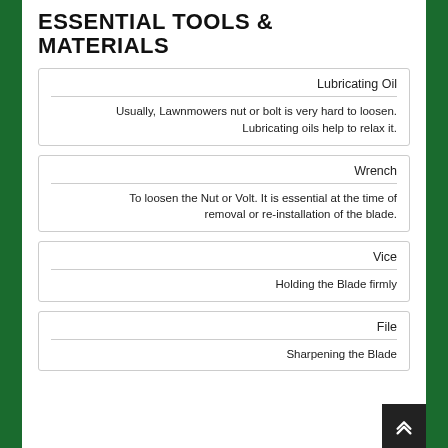ESSENTIAL TOOLS & MATERIALS
Lubricating Oil
Usually, Lawnmowers nut or bolt is very hard to loosen. Lubricating oils help to relax it.
Wrench
To loosen the Nut or Volt. It is essential at the time of removal or re-installation of the blade.
Vice
Holding the Blade firmly
File
Sharpening the Blade